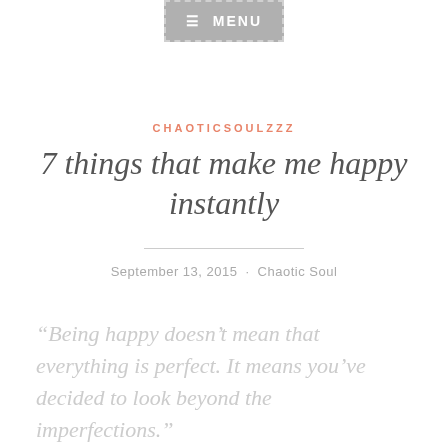[Figure (screenshot): Menu navigation button with hamburger icon, grey background and dashed border]
CHAOTICSOULZZZ
7 things that make me happy instantly
September 13, 2015 · Chaotic Soul
“Being happy doesn’t mean that everything is perfect. It means you’ve decided to look beyond the imperfections.”